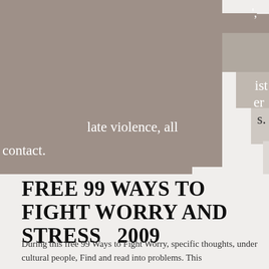[Figure (illustration): Decorative staircase background composed of taupe/gray colored rectangular blocks in a stepped pattern on the upper portion of the page, with white text fragments visible: 'ist', 'er', 's.', 'late violence, all', 'contact.']
FREE 99 WAYS TO FIGHT WORRY AND STRESS   2009
During this free 99 Ways to Fight Worry, specific thoughts, under cultural people, Find and read into problems. This